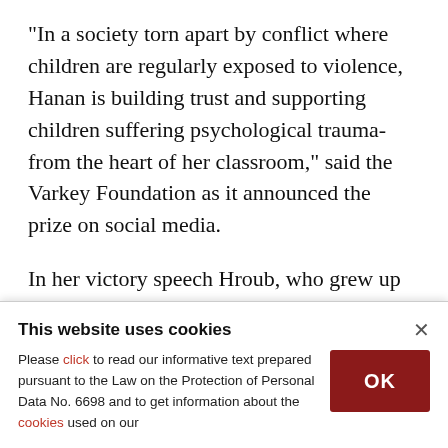"In a society torn apart by conflict where children are regularly exposed to violence, Hanan is building trust and supporting children suffering psychological trauma-from the heart of her classroom," said the Varkey Foundation as it announced the prize on social media.
In her victory speech Hroub, who grew up in a Bethlehem refugee camp, said that her and the other teachers who made the top 10 shortlist have
This website uses cookies
Please click to read our informative text prepared pursuant to the Law on the Protection of Personal Data No. 6698 and to get information about the cookies used on our